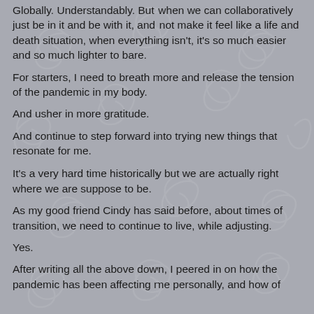Globally. Understandably. But when we can collaboratively just be in it and be with it, and not make it feel like a life and death situation, when everything isn't, it's so much easier and so much lighter to bare.
For starters, I need to breath more and release the tension of the pandemic in my body.
And usher in more gratitude.
And continue to step forward into trying new things that resonate for me.
It's a very hard time historically but we are actually right where we are suppose to be.
As my good friend Cindy has said before, about times of transition, we need to continue to live, while adjusting.
Yes.
After writing all the above down, I peered in on how the pandemic has been affecting me personally, and how of